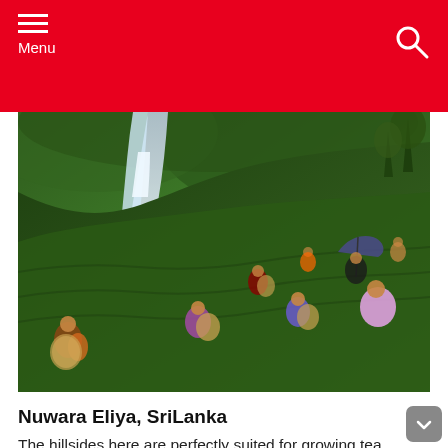Menu
[Figure (photo): Tea pickers working on steep green hillside tea plantation in Nuwara Eliya, Sri Lanka, with a rushing river visible in the valley below. Several women carry large woven baskets on their backs while harvesting tea leaves.]
Nuwara Eliya, SriLanka
The hillsides here are perfectly suited for growing tea, which requires an even distribution of rainfall,